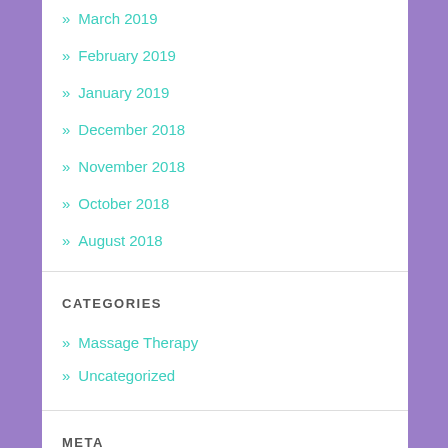» March 2019
» February 2019
» January 2019
» December 2018
» November 2018
» October 2018
» August 2018
CATEGORIES
» Massage Therapy
» Uncategorized
META
» Register